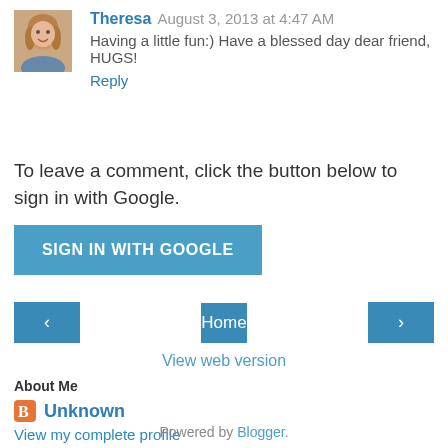[Figure (photo): Avatar thumbnail of Theresa, a woman with shoulder-length blonde hair]
Theresa August 3, 2013 at 4:47 AM
Having a little fun:) Have a blessed day dear friend, HUGS!
Reply
To leave a comment, click the button below to sign in with Google.
SIGN IN WITH GOOGLE
‹
Home
›
View web version
About Me
Unknown
View my complete profile
Powered by Blogger.